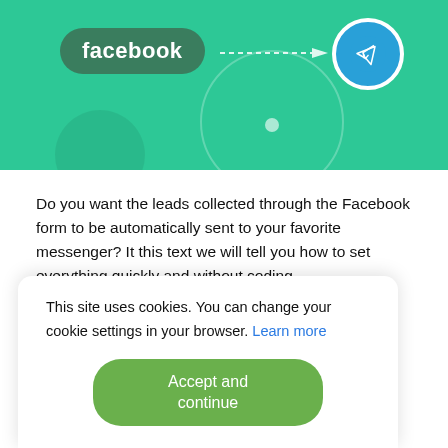[Figure (illustration): Hero banner with teal/green background showing Facebook badge on left, dashed arrow pointing right to Telegram circle icon on right, with decorative circles]
Do you want the leads collected through the Facebook form to be automatically sent to your favorite messenger? It this text we will tell you how to set everything quickly and without coding.
Content:
1. How to transfer leads from Facebook to Telegram
2. Sign up SaveMyLeads
3. Connect Facebook Leads Ads
4. Connect Telegram
This site uses cookies. You can change your cookie settings in your browser. Learn more